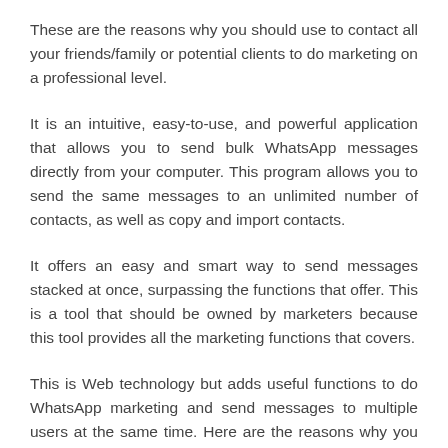These are the reasons why you should use to contact all your friends/family or potential clients to do marketing on a professional level.
It is an intuitive, easy-to-use, and powerful application that allows you to send bulk WhatsApp messages directly from your computer. This program allows you to send the same messages to an unlimited number of contacts, as well as copy and import contacts.
It offers an easy and smart way to send messages stacked at once, surpassing the functions that offer. This is a tool that should be owned by marketers because this tool provides all the marketing functions that covers.
This is Web technology but adds useful functions to do WhatsApp marketing and send messages to multiple users at the same time. Here are the reasons why you should